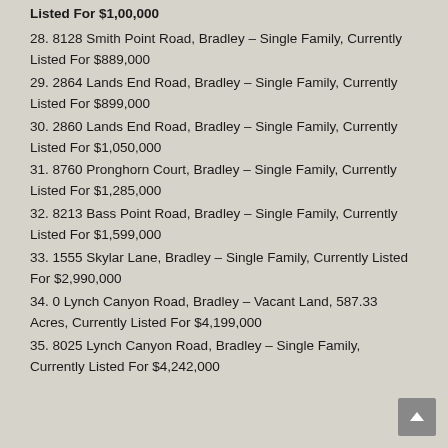Listed For $1,00,000
28. 8128 Smith Point Road, Bradley – Single Family, Currently Listed For $889,000
29. 2864 Lands End Road, Bradley – Single Family, Currently Listed For $899,000
30. 2860 Lands End Road, Bradley – Single Family, Currently Listed For $1,050,000
31. 8760 Pronghorn Court, Bradley – Single Family, Currently Listed For $1,285,000
32. 8213 Bass Point Road, Bradley – Single Family, Currently Listed For $1,599,000
33. 1555 Skylar Lane, Bradley – Single Family, Currently Listed For $2,990,000
34. 0 Lynch Canyon Road, Bradley – Vacant Land, 587.33 Acres, Currently Listed For $4,199,000
35. 8025 Lynch Canyon Road, Bradley – Single Family, Currently Listed For $4,242,000